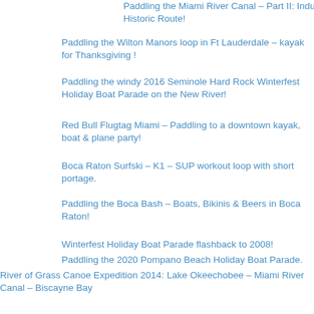Paddling the Miami River Canal – Part II: Industrial and Historic Route!
Paddling the Wilton Manors loop in Ft Lauderdale – kayak for Thanksgiving !
Paddling the windy 2016 Seminole Hard Rock Winterfest Holiday Boat Parade on the New River!
Red Bull Flugtag Miami – Paddling to a downtown kayak, boat & plane party!
Boca Raton Surfski – K1 – SUP workout loop with short portage.
Paddling the Boca Bash – Boats, Bikinis & Beers in Boca Raton!
Winterfest Holiday Boat Parade flashback to 2008!
Paddling the 2020 Pompano Beach Holiday Boat Parade.
River of Grass Canoe Expedition 2014: Lake Okeechobee – Miami River Canal – Biscayne Bay
River of Grass Canoe Expedition 2014 – Exploring the Lake Okeechobee headwaters of the Miami Canal
River of Grass Canoe Expedition 2014 – Canal paddling on the edge of civilization in a Water Conservation Area